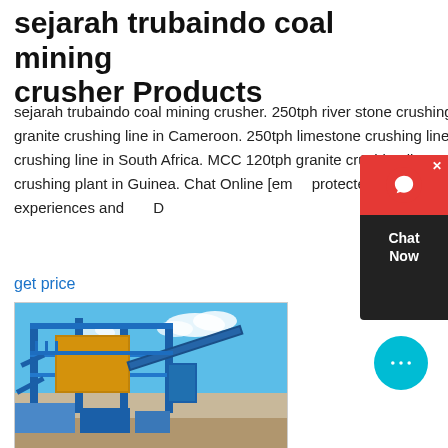sejarah trubaindo coal mining crusher Products
sejarah trubaindo coal mining crusher. 250tph river stone crushing line in Chile. 200tph granite crushing line in Cameroon. 250tph limestone crushing line in Kenya . 250tph granite crushing line in South Africa. MCC 120tph granite crushing line in Zimbabwe. 400tph crushing plant in Guinea. Chat Online [email protected] Based on many years of market experiences and D
get price
[Figure (photo): Industrial coal mining crusher or stone crushing plant with blue steel structure, conveyors and industrial equipment under a blue sky with white clouds.]